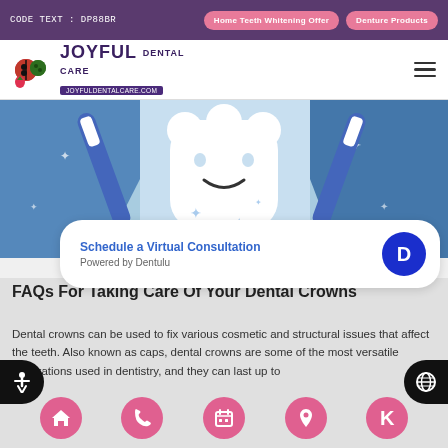CODE TEXT : DP88BR | Home Teeth Whitening Offer | Denture Products
[Figure (logo): Joyful Dental Care logo with colorful ladybug/strawberry icon and text JOYFULDENTALCARE.COM]
[Figure (illustration): Cartoon dental illustration showing a smiling tooth character with toothbrush on blue background]
Schedule a Virtual Consultation
Powered by Dentulu
FAQs For Taking Care Of Your Dental Crowns
Dental crowns can be used to fix various cosmetic and structural issues that affect the teeth. Also known as caps, dental crowns are some of the most versatile restorations used in dentistry, and they can last up to
Home | Phone | Calendar | Location | K